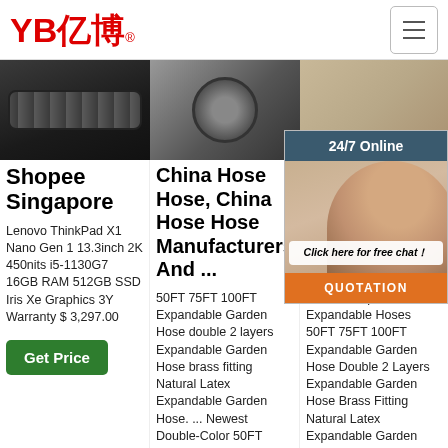YB亿博® [hamburger menu]
[Figure (photo): Three product images in a horizontal strip: dark flexible hose on left, black hose connector in center, indoor/room scene on right]
Shopee Singapore
Lenovo ThinkPad X1 Nano Gen 1 13.3inch 2K 450nits i5-1130G7 16GB RAM 512GB SSD Iris Xe Graphics 3Y Warranty $ 3,297.00
China Hose Hose, China Hose Hose Manufacturers And ...
50FT 75FT 100FT Expandable Garden Hose double 2 layers Expandable Garden Hose brass fitting Natural Latex Expandable Garden Hose. ... Newest Double-Color 50FT 100FT Strength 3750D Expandable
Uti Ex Ho Ga Irri
Ad. Fav Exp Expandable Hoses 50FT 75FT 100FT Expandable Garden Hose Double 2 Layers Expandable Garden Hose Brass Fitting Natural Latex Expandable Garden
[Figure (screenshot): 24/7 Online chat panel with agent photo, 'Click here for free chat!' bubble, and QUOTATION button in orange]
Get Price